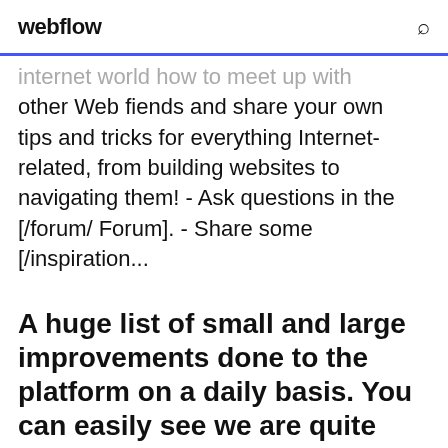webflow
internet world how to meet up with other Web fiends and share your own tips and tricks for everything Internet-related, from building websites to navigating them! - Ask questions in the [/forum/ Forum]. - Share some [/inspiration...
A huge list of small and large improvements done to the platform on a daily basis. You can easily see we are quite busy.
17 Jan 2019 Building on the success of the Pixel